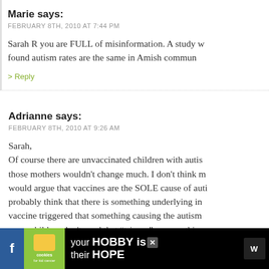Marie says:
FEBRUARY 8TH, 2010 AT 7:44 PM
Sarah R you are FULL of misinformation. A study w found autism rates are the same in Amish commun
> Reply
Adrianne says:
FEBRUARY 8TH, 2010 AT 9:26 AM
Sarah,
Of course there are unvaccinated children with autis those mothers wouldn't change much. I don't think m would argue that vaccines are the SOLE cause of auti probably think that there is something underlying in vaccine triggered that something causing the autism some children don't need that "trigger" or something know that there are plenty of unvaccinated children there, but clearly that is not enough (for a lot of peop
[Figure (screenshot): Advertisement banner at the bottom: cookies for kid cancer charity ad with text 'your HOBBY is their HOPE']